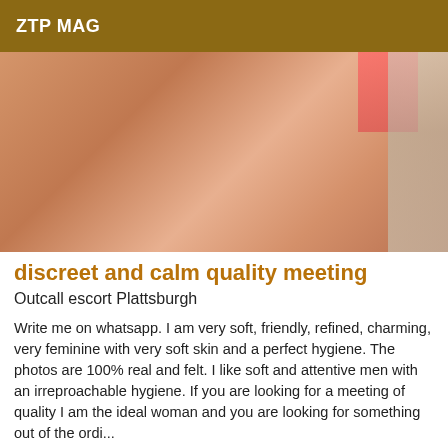ZTP MAG
[Figure (photo): Close-up photo of a woman's body in a pink/red bikini bottom, warm skin tones, indoor setting visible on the right side]
discreet and calm quality meeting
Outcall escort Plattsburgh
Write me on whatsapp. I am very soft, friendly, refined, charming, very feminine with very soft skin and a perfect hygiene. The photos are 100% real and felt. I like soft and attentive men with an irreproachable hygiene. If you are looking for a meeting of quality I am the ideal woman and you are looking for something out of the ordinary...